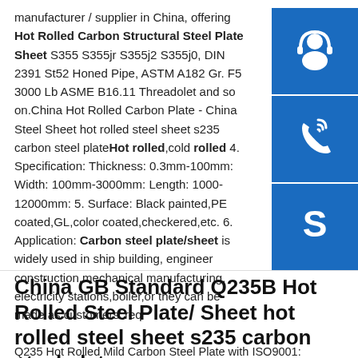manufacturer / supplier in China, offering Hot Rolled Carbon Structural Steel Plate Sheet S355 S355jr S355j2 S355j0, DIN 2391 St52 Honed Pipe, ASTM A182 Gr. F5 3000 Lb ASME B16.11 Threadolet and so on.China Hot Rolled Carbon Plate - China Steel Sheet hot rolled steel sheet s235 carbon steel plateHot rolled,cold rolled 4. Specification: Thickness: 0.3mm-100mm: Width: 100mm-3000mm: Length: 1000-12000mm: 5. Surface: Black painted,PE coated,GL,color coated,checkered,etc. 6. Application: Carbon steel plate/sheet is widely used in ship building, engineer construction,mechanical manufacturing, electricity stations,boiler,or they can be made as customers' req
[Figure (illustration): Three blue square icons stacked vertically on the right side: headset/customer service icon, phone/call icon, Skype icon]
China GB Standard Q235B Hot Rolled Steel Plate/ Sheet hot rolled steel sheet s235 carbon steel plate
Q235 Hot Rolled Mild Carbon Steel Plate with ISO9001: